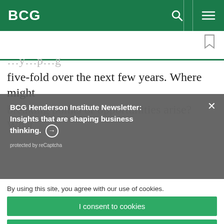BCG
five-fold over the next few years. Where might breaking points or opportunities arise? What
BCG Henderson Institute Newsletter: Insights that are shaping business thinking. ➜
protected by reCaptcha
By using this site, you agree with our use of cookies.
I consent to cookies
Want to know more?
Read our Cookie Policy